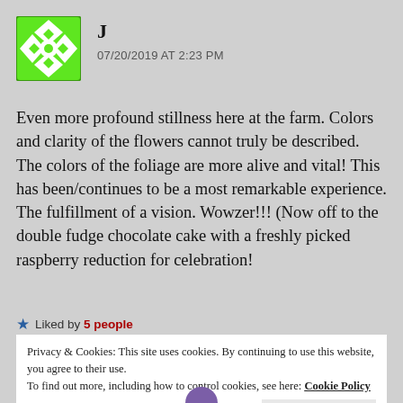[Figure (illustration): Green and white geometric avatar icon with diamond/floral pattern]
J
07/20/2019 AT 2:23 PM
Even more profound stillness here at the farm. Colors and clarity of the flowers cannot truly be described. The colors of the foliage are more alive and vital! This has been/continues to be a most remarkable experience. The fulfillment of a vision. Wowzer!!! (Now off to the double fudge chocolate cake with a freshly picked raspberry reduction for celebration!
★ Liked by 5 people
Privacy & Cookies: This site uses cookies. By continuing to use this website, you agree to their use.
To find out more, including how to control cookies, see here: Cookie Policy
Close and accept